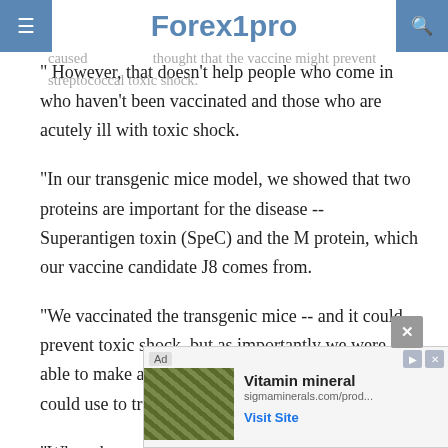Forex1pro
infections. At the time we were looking at it to prevent rheumatic heart disease, which is also caused by strep. We thought that the vaccine might prevent streptococcal toxic shock.
" However, that doesn't help people who come in who haven't been vaccinated and those who are acutely ill with toxic shock.
"In our transgenic mice model, we showed that two proteins are important for the disease -- Superantigen toxin (SpeC) and the M protein, which our vaccine candidate J8 comes from.
"We vaccinated the transgenic mice -- and it could prevent toxic shock, but as importantly we were able to make antibodies in normal mice which we could use to treat sick mice.
"When the transgenic mice became very ill, we treated them with the vaccine antibodies and they recovered overnight -- the organisms as well as
[Figure (screenshot): Advertisement overlay: Vitamin mineral product ad from sigmaminerals.com with a 'Visit Site' link and small image of minerals/rocks]